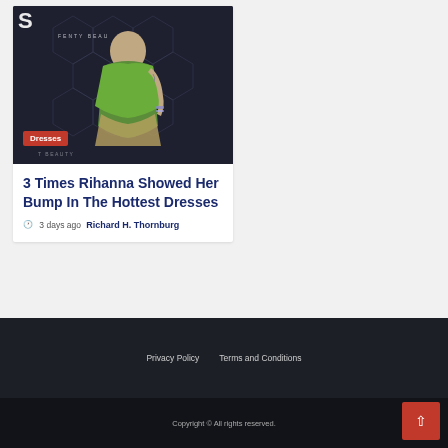[Figure (photo): Photo of a person in a green dress at a Fenty Beauty event, dark background with hexagonal pattern]
Dresses
3 Times Rihanna Showed Her Bump In The Hottest Dresses
🕐 3 days ago  Richard H. Thornburg
Privacy Policy   Terms and Conditions
Copyright © All rights reserved.